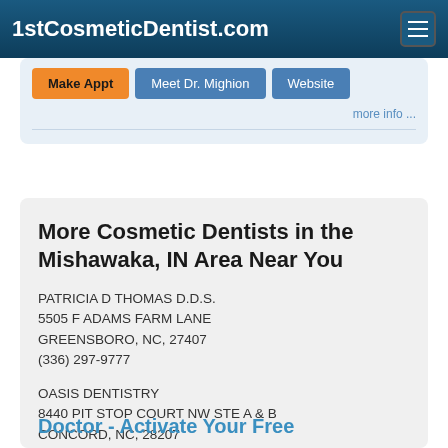1stCosmeticDentist.com
Make Appt | Meet Dr. Mighion | Website
more info ...
More Cosmetic Dentists in the Mishawaka, IN Area Near You
PATRICIA D THOMAS D.D.S.
5505 F ADAMS FARM LANE
GREENSBORO, NC, 27407
(336) 297-9777
OASIS DENTISTRY
8440 PIT STOP COURT NW STE A & B
CONCORD, NC, 28207
(704) 548-2700
Doctor - Activate Your Free